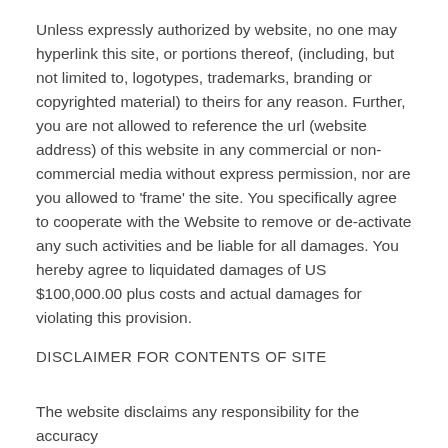Unless expressly authorized by website, no one may hyperlink this site, or portions thereof, (including, but not limited to, logotypes, trademarks, branding or copyrighted material) to theirs for any reason. Further, you are not allowed to reference the url (website address) of this website in any commercial or non-commercial media without express permission, nor are you allowed to 'frame' the site. You specifically agree to cooperate with the Website to remove or de-activate any such activities and be liable for all damages. You hereby agree to liquidated damages of US $100,000.00 plus costs and actual damages for violating this provision.
DISCLAIMER FOR CONTENTS OF SITE
The website disclaims any responsibility for the accuracy